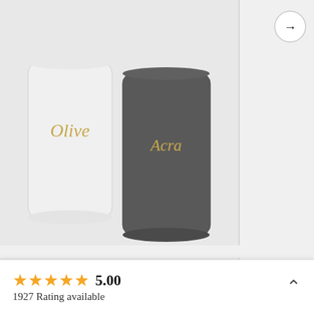[Figure (photo): Two stemless wine cups - one white and one dark/charcoal gray - with gold cursive text on them. Left cup reads 'Olive', right cup reads a partial name. Background is light gray.]
[Figure (photo): Partially visible product image on the right side, cropped by the edge of the viewport.]
Wedding Party Gift, Stemless Wine Cup, Bachelorette Party Favor, Bridesmaid Cups, Employee Gift
0 (0 Reviews)
From $19.99
Bachelorette Bridesmaid Pr... Bridesmaid C... Party Cup - Ba... Stemless W...
From
5.00
1927 Rating available